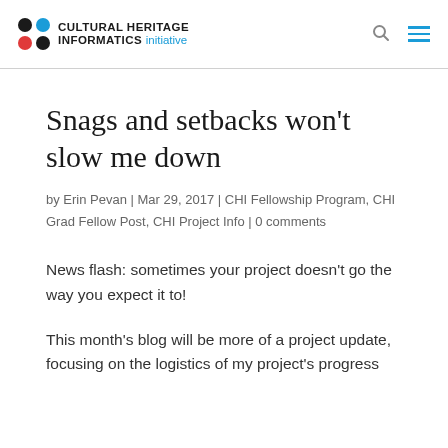Cultural Heritage Informatics initiative
Snags and setbacks won't slow me down
by Erin Pevan | Mar 29, 2017 | CHI Fellowship Program, CHI Grad Fellow Post, CHI Project Info | 0 comments
News flash: sometimes your project doesn't go the way you expect it to!
This month's blog will be more of a project update, focusing on the logistics of my project's progress